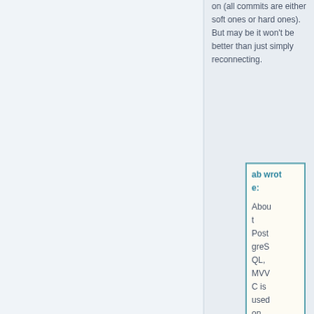on (all commits are either soft ones or hard ones). But may be it won't be better than just simply reconnecting.
ab wrote: About PostgreSQL, MVVC is used on